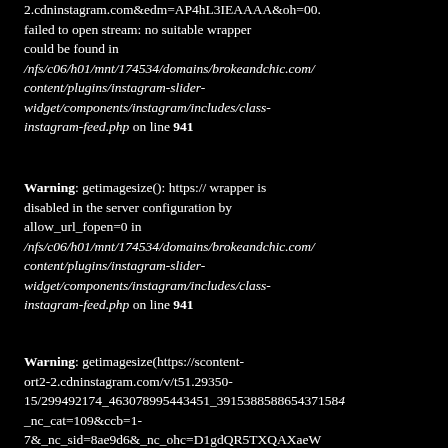2.cdninstagram.com&edm=AP4hL3IEAAAA&oh=00. failed to open stream: no suitable wrapper could be found in /nfs/c06/h01/mnt/174534/domains/brokeandchic.com/content/plugins/instagram-slider-widget/components/instagram/includes/class-instagram-feed.php on line 941
Warning: getimagesize(): https:// wrapper is disabled in the server configuration by allow_url_fopen=0 in /nfs/c06/h01/mnt/174534/domains/brokeandchic.com/content/plugins/instagram-slider-widget/components/instagram/includes/class-instagram-feed.php on line 941
Warning: getimagesize(https://scontent-ort2-2.cdninstagram.com/v/t51.29350-15/299492174_463078995443451_3915388588654371584_nc_cat=109&ccb=1-7&_nc_sid=8ae9d6&_nc_ohc=D1gdQR5TXQAXaeW...